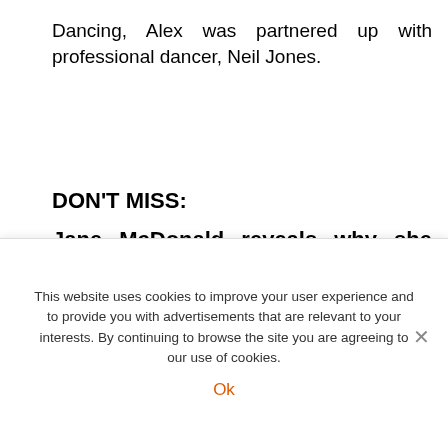Dancing, Alex was partnered up with professional dancer, Neil Jones.
DON'T MISS:
Jane McDonald reveals why she stepped down from Channel 5 series (TWITTER)
James Jordan: Strictly pro reveals reality of being new dad (INSTAGRAM)
Alex Jones: The One Show host opens up about 'heartbreaking'
This website uses cookies to improve your user experience and to provide you with advertisements that are relevant to your interests. By continuing to browse the site you are agreeing to our use of cookies.
Ok